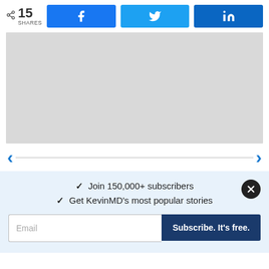[Figure (infographic): Social share bar with share count 15 SHARES and three buttons: Facebook (f), Twitter (bird), LinkedIn (in)]
[Figure (photo): Large gray image placeholder rectangle]
[Figure (infographic): Navigation arrows pointing left and right with a horizontal line between them]
✓  Join 150,000+ subscribers
✓  Get KevinMD's most popular stories
Email  Subscribe. It's free.